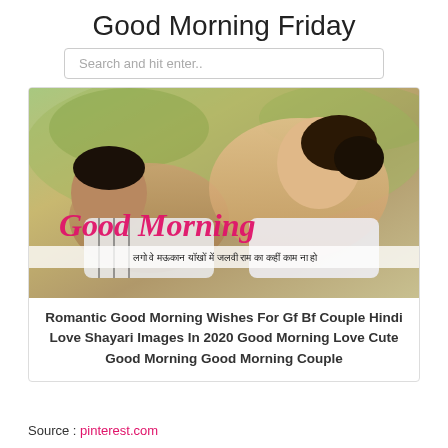Good Morning Friday
Search and hit enter..
[Figure (photo): A romantic couple looking at each other, lying outdoors with greenery in background. Text overlay reads 'Good Morning' in pink cursive script with Hindi text below.]
Romantic Good Morning Wishes For Gf Bf Couple Hindi Love Shayari Images In 2020 Good Morning Love Cute Good Morning Good Morning Couple
Source : pinterest.com